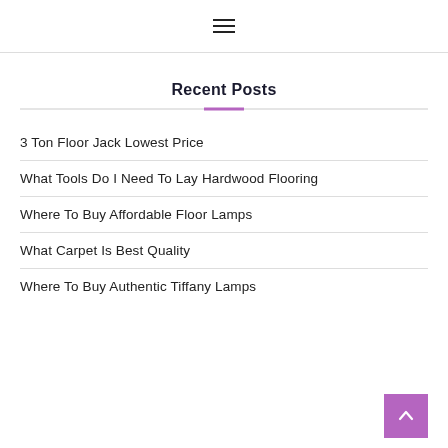☰
Recent Posts
3 Ton Floor Jack Lowest Price
What Tools Do I Need To Lay Hardwood Flooring
Where To Buy Affordable Floor Lamps
What Carpet Is Best Quality
Where To Buy Authentic Tiffany Lamps